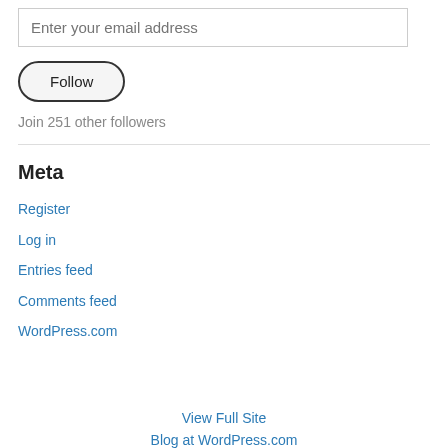Enter your email address
Follow
Join 251 other followers
Meta
Register
Log in
Entries feed
Comments feed
WordPress.com
View Full Site
Blog at WordPress.com